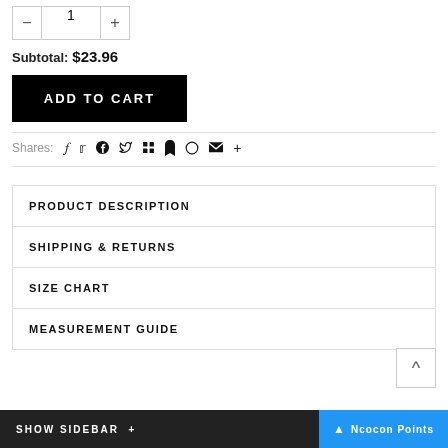Quantity: 1 (minus/plus buttons)
Subtotal: $23.96
ADD TO CART
Shares: (social share icons: facebook, twitter, pinterest, grid, bookmark, circle, mail, plus)
PRODUCT DESCRIPTION
SHIPPING & RETURNS
SIZE CHART
MEASUREMENT GUIDE
SHOW SIDEBAR +
Ncocon Points